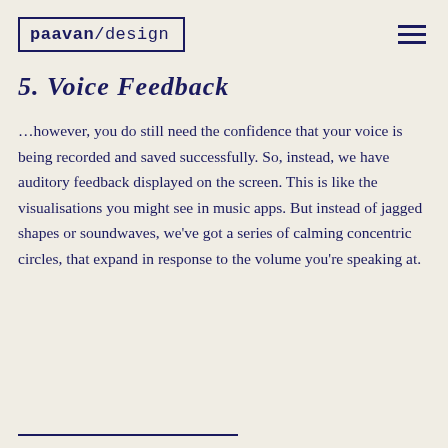paavan/design
5. Voice Feedback
…however, you do still need the confidence that your voice is being recorded and saved successfully. So, instead, we have auditory feedback displayed on the screen. This is like the visualisations you might see in music apps. But instead of jagged shapes or soundwaves, we've got a series of calming concentric circles, that expand in response to the volume you're speaking at.